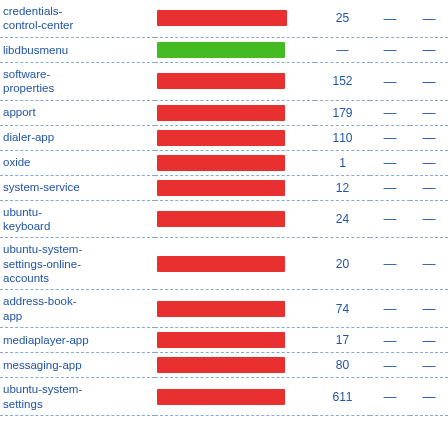| Package | Bar | Count | col4 | col5 |
| --- | --- | --- | --- | --- |
| credentials-control-center | red-bar | 25 | — | — |
| libdbusmenu | green-bar | — | — | — |
| software-properties | red-bar | 152 | — | — |
| apport | red-bar | 179 | — | — |
| dialer-app | red-bar | 110 | — | — |
| oxide | red-bar | 1 | — | — |
| system-service | red-bar | 12 | — | — |
| ubuntu-keyboard | red-bar | 24 | — | — |
| ubuntu-system-settings-online-accounts | red-bar | 20 | — | — |
| address-book-app | red-bar | 74 | — | — |
| mediaplayer-app | red-bar | 17 | — | — |
| messaging-app | red-bar | 80 | — | — |
| ubuntu-system-settings | red-bar | 611 | — | — |